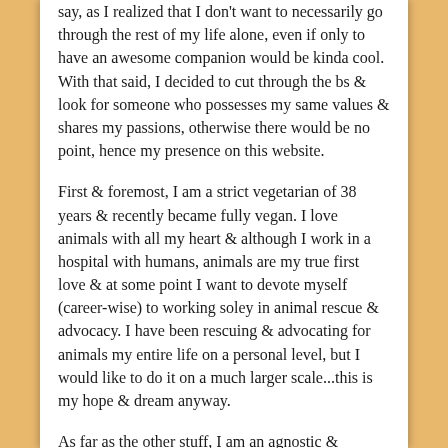say, as I realized that I don't want to necessarily go through the rest of my life alone, even if only to have an awesome companion would be kinda cool. With that said, I decided to cut through the bs & look for someone who possesses my same values & shares my passions, otherwise there would be no point, hence my presence on this website.
First & foremost, I am a strict vegetarian of 38 years & recently became fully vegan. I love animals with all my heart & although I work in a hospital with humans, animals are my true first love & at some point I want to devote myself (career-wise) to working soley in animal rescue & advocacy. I have been rescuing & advocating for animals my entire life on a personal level, but I would like to do it on a much larger scale...this is my hope & dream anyway.
As far as the other stuff, I am an agnostic & consider myself to be very anti-religious. I am okay with philosophies that advocate for the